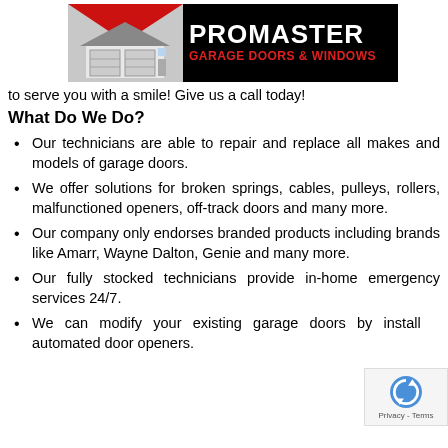[Figure (logo): ProMaster Garage Doors & Windows logo with house illustration on left and company name on black background on right]
to serve you with a smile! Give us a call today!
What Do We Do?
Our technicians are able to repair and replace all makes and models of garage doors.
We offer solutions for broken springs, cables, pulleys, rollers, malfunctioned openers, off-track doors and many more.
Our company only endorses branded products including brands like Amarr, Wayne Dalton, Genie and many more.
Our fully stocked technicians provide in-home emergency services 24/7.
We can modify your existing garage doors by installing automated door openers.